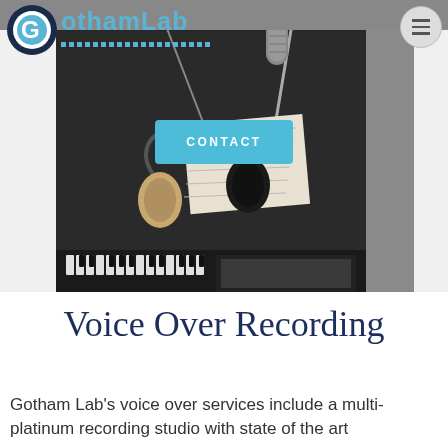[Figure (logo): GothamLab logo with circular G icon and blue text with dotted underline]
[Figure (photo): Recording studio scene with microphone, headphones on sheet music, and keyboard in dark studio with acoustic foam]
CONTACT
Voice Over Recording
Gotham Lab's voice over services include a multi-platinum recording studio with state of the art